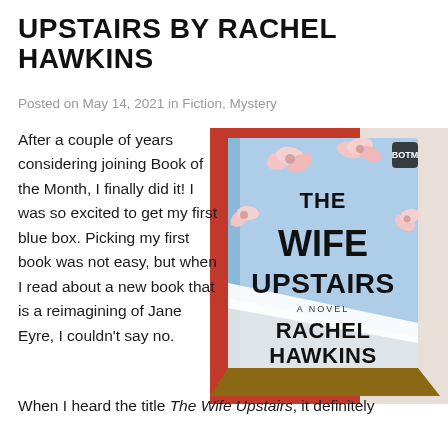UPSTAIRS BY RACHEL HAWKINS
Posted on May 14, 2021 in Fiction, Mystery
[Figure (photo): A photo of the book 'The Wife Upstairs: A Novel' by Rachel Hawkins, displayed standing on a wooden surface with a red curtain and white drapes in background. The cover is light blue with white flowers and bold black text.]
After a couple of years considering joining Book of the Month, I finally did it! I was so excited to get my first blue box. Picking my first book was not easy, but when I read about a new book that is a reimagining of Jane Eyre, I couldn't say no.
When I heard the title The Wife Upstairs, it definitely